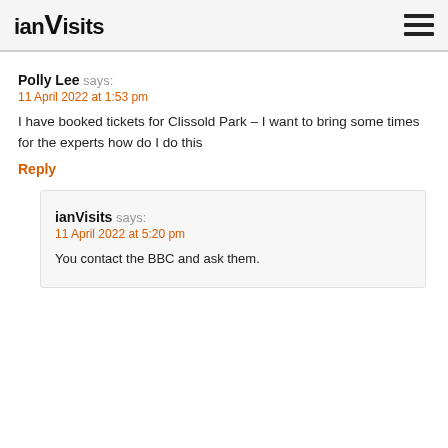ianVisits
Polly Lee says:
11 April 2022 at 1:53 pm
I have booked tickets for Clissold Park – I want to bring some times for the experts how do I do this
Reply
ianVisits says:
11 April 2022 at 5:20 pm
You contact the BBC and ask them.